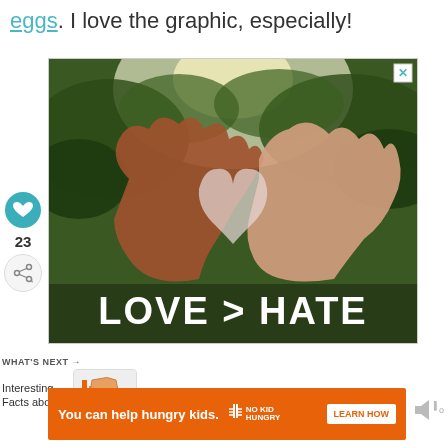eggs. I love the graphic, especially!
[Figure (photo): Two hands from people of different skin tones forming a heart shape, with green trees in the background. Bold white text reads 'LOVE > HATE'.]
23
WHAT'S NEXT → Interesting Facts about...
[Figure (infographic): Small thumbnail image of Indiana state map with orange coloring for a 'What's Next' section.]
You can help hungry kids.
[Figure (logo): No Kid Hungry logo - fork icon with text NO KID HUNGRY]
LEARN HOW